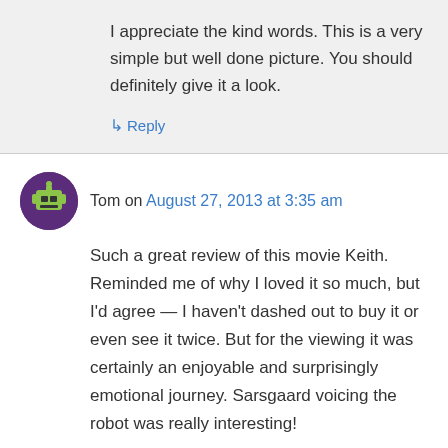I appreciate the kind words. This is a very simple but well done picture. You should definitely give it a look.
↳ Reply
Tom on August 27, 2013 at 3:35 am
Such a great review of this movie Keith. Reminded me of why I loved it so much, but I'd agree — I haven't dashed out to buy it or even see it twice. But for the viewing it was certainly an enjoyable and surprisingly emotional journey. Sarsgaard voicing the robot was really interesting!
↳ Reply